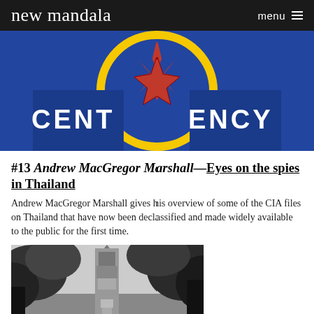new mandala   menu
[Figure (photo): CIA seal/emblem partial view showing blue background with 'CENT' on left, red compass star in center, and 'ENCY' on right, yellow circle border]
#13 Andrew MacGregor Marshall—Eyes on the spies in Thailand
Andrew MacGregor Marshall gives his overview of some of the CIA files on Thailand that have now been declassified and made widely available to the public for the first time.
[Figure (photo): Black and white photograph of a tall ornate tower or pagoda structure viewed through tree foliage from below]